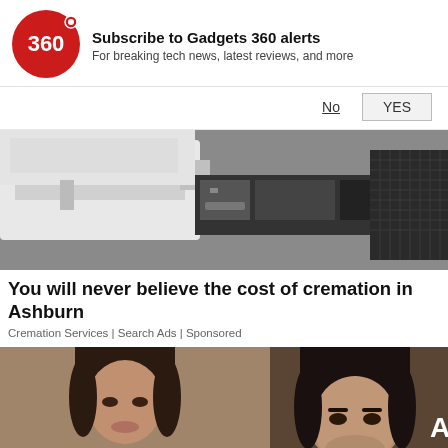[Figure (logo): Gadgets 360 red circle logo with '360' text in white]
Subscribe to Gadgets 360 alerts
For breaking tech news, latest reviews, and more
No   YES
[Figure (photo): Industrial machine or printer equipment, white and dark colored]
You will never believe the cost of cremation in Ashburn
Cremation Services | Search Ads | Sponsored
[Figure (photo): Two Bollywood celebrities, a woman on the left and a man on the right, at an event with Sony and other brand logos visible]